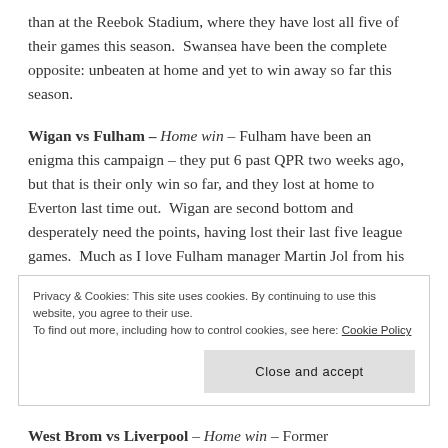than at the Reebok Stadium, where they have lost all five of their games this season.  Swansea have been the complete opposite: unbeaten at home and yet to win away so far this season.
Wigan vs Fulham – Home win – Fulham have been an enigma this campaign – they put 6 past QPR two weeks ago, but that is their only win so far, and they lost at home to Everton last time out.  Wigan are second bottom and desperately need the points, having lost their last five league games.  Much as I love Fulham manager Martin Jol from his time at
Privacy & Cookies: This site uses cookies. By continuing to use this website, you agree to their use.
To find out more, including how to control cookies, see here: Cookie Policy
Close and accept
West Brom vs Liverpool – Home win – Former